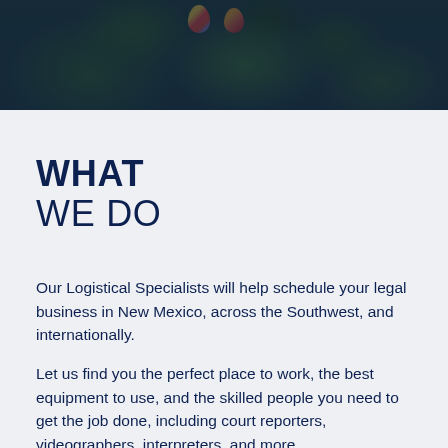[Figure (photo): Aerial photo of trees and hot air balloons, overlaid with a dark blue semi-transparent gradient]
WHAT WE DO
Our Logistical Specialists will help schedule your legal business in New Mexico, across the Southwest, and internationally.
Let us find you the perfect place to work, the best equipment to use, and the skilled people you need to get the job done, including court reporters, videographers, interpreters, and more.